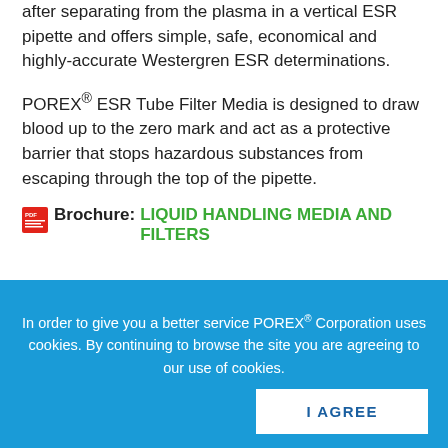after separating from the plasma in a vertical ESR pipette and offers simple, safe, economical and highly-accurate Westergren ESR determinations.
POREX® ESR Tube Filter Media is designed to draw blood up to the zero mark and act as a protective barrier that stops hazardous substances from escaping through the top of the pipette.
Brochure: LIQUID HANDLING MEDIA AND FILTERS
[Figure (screenshot): Two buttons: green 'BROWSE ONLINE' button and blue 'ASK AN ENGINEER' button]
In order to give you a better service POREX® Corporation uses cookies. By continuing to browse the site you are agreeing to our use of cookies.